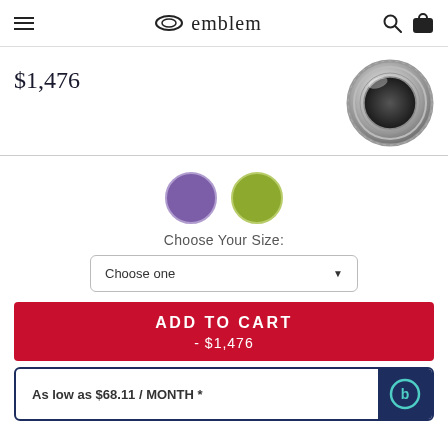emblem
$1,476
[Figure (photo): Silver/platinum men's wedding band ring with hammered texture and polished edges]
[Figure (illustration): Two color swatches: purple and olive/green]
Choose Your Size:
Choose one
ADD TO CART - $1,476
As low as $68.11 / MONTH *